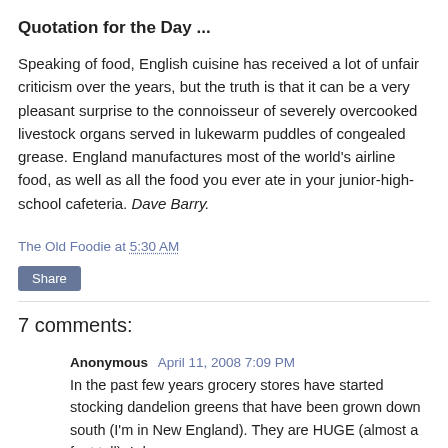Quotation for the Day ...
Speaking of food, English cuisine has received a lot of unfair criticism over the years, but the truth is that it can be a very pleasant surprise to the connoisseur of severely overcooked livestock organs served in lukewarm puddles of congealed grease. England manufactures most of the world's airline food, as well as all the food you ever ate in your junior-high-school cafeteria. Dave Barry.
The Old Foodie at 5:30 AM
Share
7 comments:
Anonymous April 11, 2008 7:09 PM
In the past few years grocery stores have started stocking dandelion greens that have been grown down south (I'm in New England). They are HUGE (almost a foot tall). I do